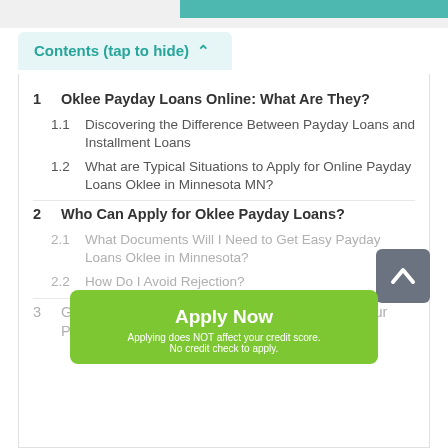Contents (tap to hide) ^
1  Oklee Payday Loans Online: What Are They?
1.1  Discovering the Difference Between Payday Loans and Installment Loans
1.2  What are Typical Situations to Apply for Online Payday Loans Oklee in Minnesota MN?
2  Who Can Apply for Oklee Payday Loans?
2.1  What Documents Will I Need to Get Easy Payday Loans Oklee in Minnesota?
2.2  How Do I Avoid Rejection?
3  Going Online: Manage Your Finances with 24 Hour Payday Loans Oklee, Minnesota